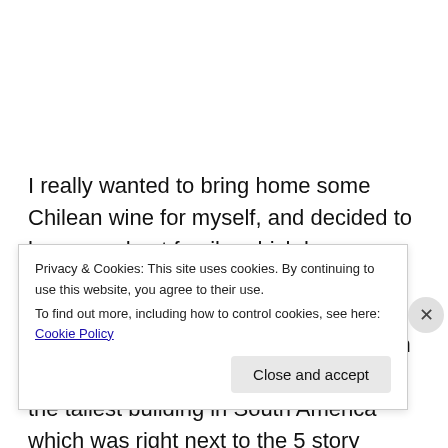I really wanted to bring home some Chilean wine for myself, and decided to honor my host family, which loves drinking tea, with some Celestial Seasonings tea made in Colorado just about 25 miles from my former home in Denver. We also got a closer view of the tallest building in South America which was right next to the 5 story shopping mall where we ate and gift shopped.
Privacy & Cookies: This site uses cookies. By continuing to use this website, you agree to their use. To find out more, including how to control cookies, see here: Cookie Policy